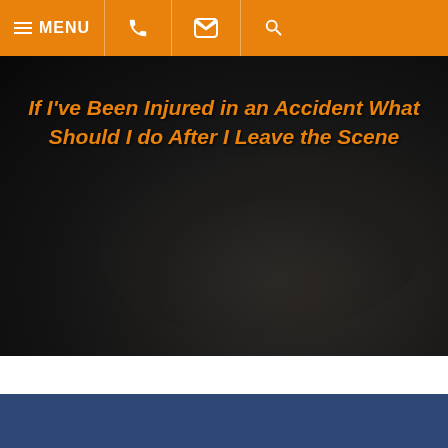MENU (navigation bar with phone, email, search icons)
[Figure (photo): Dark background photo (close-up of hands) with orange italic text overlay reading 'If I've Been Injured in an Accident What Should I do After I Leave the Scene']
If I've Been Injured in an Accident What Should I do After I Leave the Scene
OUR OFFICES
[Figure (photo): Exterior photo of a brick office building with an arched window, American flag on a pole, trees, and cloudy sky in background. An orange accessibility (wheelchair) icon button is overlaid in the bottom-left corner.]